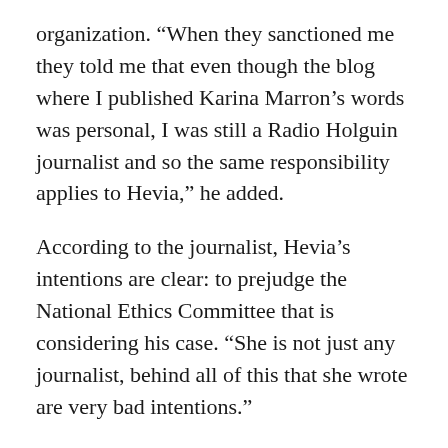organization. “When they sanctioned me they told me that even though the blog where I published Karina Marron’s words was personal, I was still a Radio Holguin journalist and so the same responsibility applies to Hevia,” he added.
According to the journalist, Hevia’s intentions are clear: to prejudge the National Ethics Committee that is considering his case. “She is not just any journalist, behind all of this that she wrote are very bad intentions.”
Karina Marron, deputy director of the official newspaper Granma has not commented on what happened with Ramirez Pantoja.